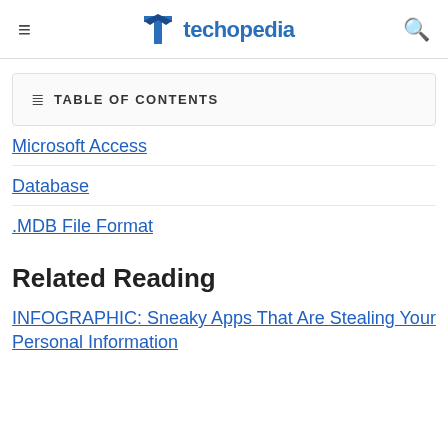techopedia
TABLE OF CONTENTS
Microsoft Access
Database
.MDB File Format
Related Reading
INFOGRAPHIC: Sneaky Apps That Are Stealing Your Personal Information